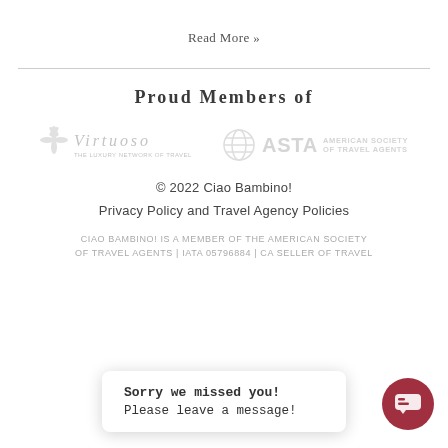Read More »
Proud Members of
[Figure (logo): Virtuoso network member logo (faded/greyscale)]
[Figure (logo): ASTA American Society of Travel Agents logo (faded/greyscale)]
© 2022 Ciao Bambino!
Privacy Policy and Travel Agency Policies
CIAO BAMBINO! IS A MEMBER OF THE AMERICAN SOCIETY OF TRAVEL AGENTS | IATA 05796884 | CA SELLER OF TRAVEL
Sorry we missed you!
Please leave a message!